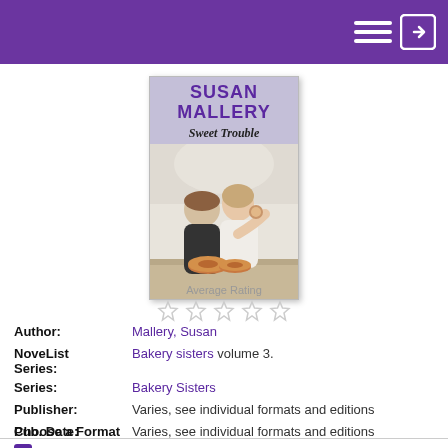[Figure (illustration): Book cover for 'Sweet Trouble' by Susan Mallery showing a couple in a bakery setting with donuts. Part of Bakery Sisters series.]
Average Rating
| Label | Value |
| --- | --- |
| Author: | Mallery, Susan |
| NoveList Series: | Bakery sisters volume 3. |
| Series: | Bakery Sisters |
| Publisher: | Varies, see individual formats and editions |
| Pub. Date: | Varies, see individual formats and editions |
| Language: | English |
Choose a Format
+ Hoopla eBook   Available Online